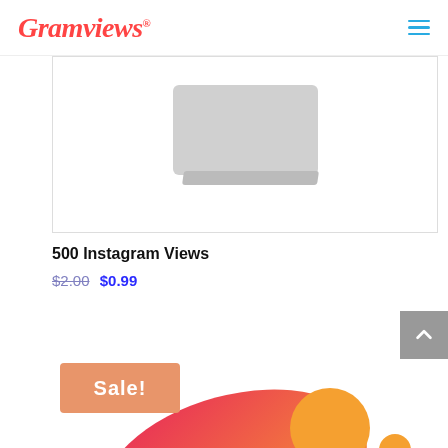Gramviews
[Figure (photo): Product image placeholder showing a grey card/note on a white background inside a bordered container]
500 Instagram Views
$2.00 $0.99
[Figure (illustration): Colorful abstract blob shapes in pink-red to orange gradient with orange circles, forming a product promotional illustration. A 'Sale!' orange badge overlays the upper-left of the illustration.]